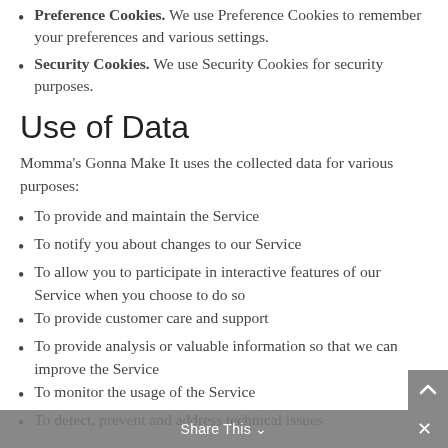Preference Cookies. We use Preference Cookies to remember your preferences and various settings.
Security Cookies. We use Security Cookies for security purposes.
Use of Data
Momma's Gonna Make It uses the collected data for various purposes:
To provide and maintain the Service
To notify you about changes to our Service
To allow you to participate in interactive features of our Service when you choose to do so
To provide customer care and support
To provide analysis or valuable information so that we can improve the Service
To monitor the usage of the Service
To detect, prevent and address technical issues
Share This ×